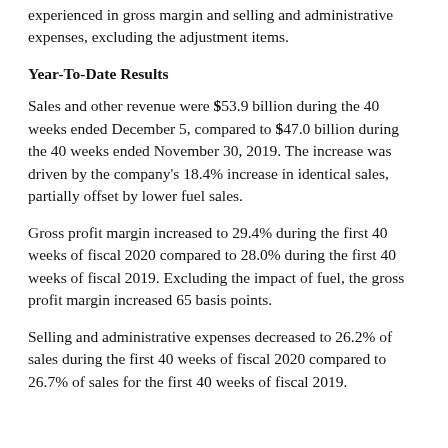experienced in gross margin and selling and administrative expenses, excluding the adjustment items.
Year-To-Date Results
Sales and other revenue were $53.9 billion during the 40 weeks ended December 5, compared to $47.0 billion during the 40 weeks ended November 30, 2019. The increase was driven by the company's 18.4% increase in identical sales, partially offset by lower fuel sales.
Gross profit margin increased to 29.4% during the first 40 weeks of fiscal 2020 compared to 28.0% during the first 40 weeks of fiscal 2019. Excluding the impact of fuel, the gross profit margin increased 65 basis points.
Selling and administrative expenses decreased to 26.2% of sales during the first 40 weeks of fiscal 2020 compared to 26.7% of sales for the first 40 weeks of fiscal 2019.